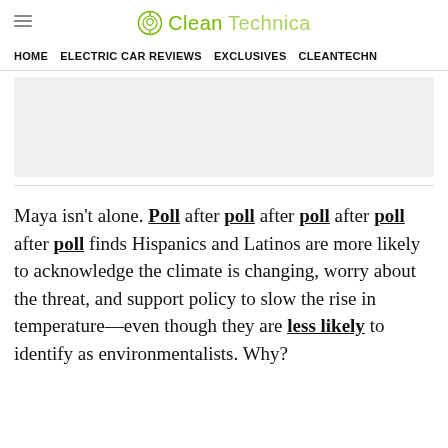CleanTechnica
HOME | ELECTRIC CAR REVIEWS | EXCLUSIVES | CLEANTECHN
[Figure (other): Advertisement placeholder banner, light grey background]
Maya isn't alone. Poll after poll after poll after poll after poll finds Hispanics and Latinos are more likely to acknowledge the climate is changing, worry about the threat, and support policy to slow the rise in temperature—even though they are less likely to identify as environmentalists. Why?